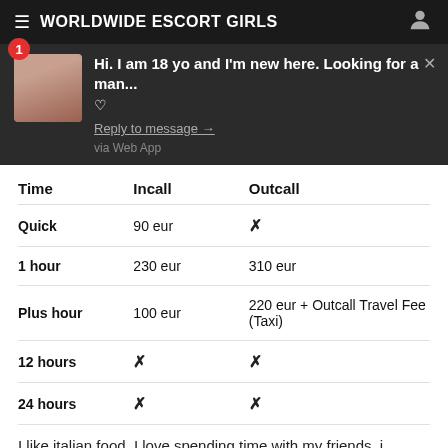WORLDWIDE ESCORT GIRLS
[Figure (screenshot): Notification popup with photo thumbnail and message: Hi. I am 18 yo and I'm new here. Looking for a man... Reply to message → via Web App]
| Time | Incall | Outcall |
| --- | --- | --- |
| Quick | 90 eur | ✗ |
| 1 hour | 230 eur | 310 eur |
| Plus hour | 100 eur | 220 eur + Outcall Travel Fee (Taxi) |
| 12 hours | ✗ | ✗ |
| 24 hours | ✗ | ✗ |
I like italian food. I love spending time with my friends, i believe that your friends are a true reflection of t. I lik... dan...